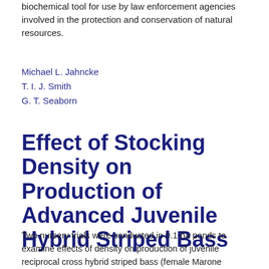biochemical tool for use by law enforcement agencies involved in the protection and conservation of natural resources.
Michael L. Jahncke
T. I. J. Smith
G. T. Seaborn
Effect of Stocking Density on Production of Advanced Juvenile Hybrid Striped Bass
Two nursery trials were conducted in 0.1-ha ponds to examine effects of density on production of juvenile reciprocal cross hybrid striped bass (female Marone chrysops x male M. saxatilis). In 1986, 1.4-g hybrids were stocked at 5,000, 10,000 and 20,000 fish/ha. In 1987, 1.7-g hybrids were stocked at